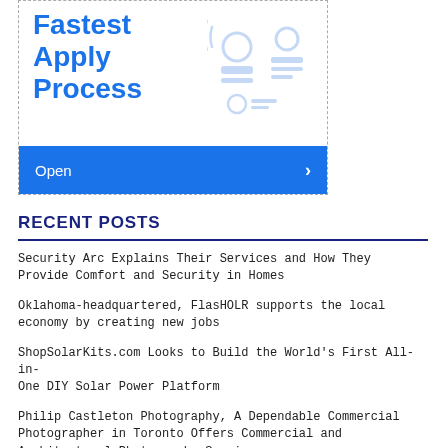[Figure (infographic): Advertisement banner showing 'Fastest Apply Process' text in blue on white background with decorative user/profile icons in light blue, and a blue 'Open >' button bar at the bottom.]
RECENT POSTS
Security Arc Explains Their Services and How They Provide Comfort and Security in Homes
Oklahoma-headquartered, FlasHOLR supports the local economy by creating new jobs
ShopSolarKits.com Looks to Build the World's First All-in-One DIY Solar Power Platform
Philip Castleton Photography, A Dependable Commercial Photographer in Toronto Offers Commercial and Architectural Photography Services